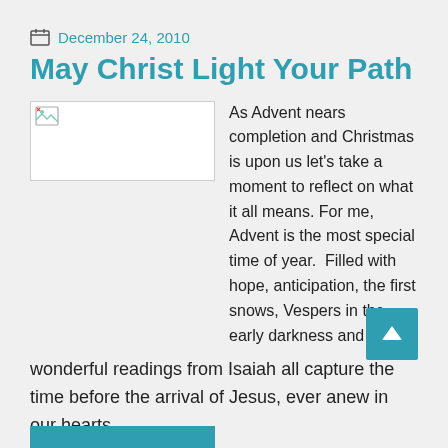December 24, 2010
May Christ Light Your Path
[Figure (photo): Broken image placeholder thumbnail]
As Advent nears completion and Christmas is upon us let's take a moment to reflect on what it all means. For me, Advent is the most special time of year. Filled with hope, anticipation, the first snows, Vespers in the early darkness and wonderful readings from Isaiah all capture the time before the arrival of Jesus, ever anew in our hearts.